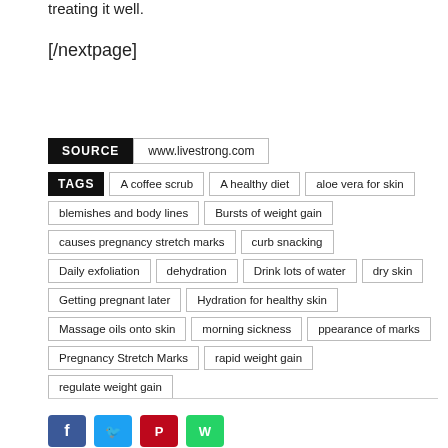treating it well.
[/nextpage]
SOURCE   www.livestrong.com
TAGS: A coffee scrub | A healthy diet | aloe vera for skin | blemishes and body lines | Bursts of weight gain | causes pregnancy stretch marks | curb snacking | Daily exfoliation | dehydration | Drink lots of water | dry skin | Getting pregnant later | Hydration for healthy skin | Massage oils onto skin | morning sickness | ppearance of marks | Pregnancy Stretch Marks | rapid weight gain | regulate weight gain